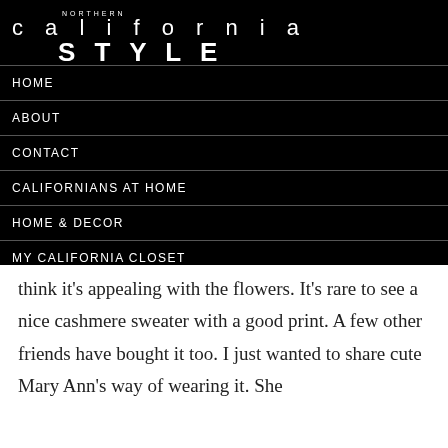NORTHERN california STYLE
HOME
ABOUT
CONTACT
CALIFORNIANS AT HOME
HOME & DECOR
MY CALIFORNIA CLOSET
think it's appealing with the flowers. It's rare to see a nice cashmere sweater with a good print. A few other friends have bought it too. I just wanted to share cute Mary Ann's way of wearing it. She